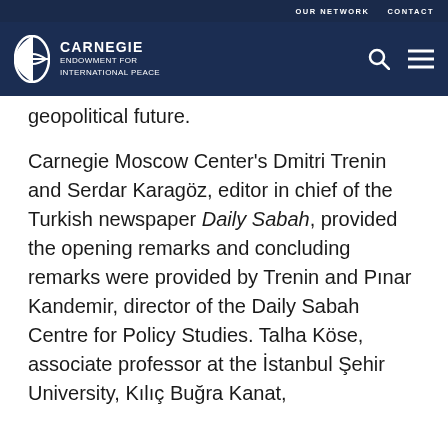OUR NETWORK   CONTACT
CARNEGIE ENDOWMENT FOR INTERNATIONAL PEACE
geopolitical future.
Carnegie Moscow Center's Dmitri Trenin and Serdar Karagöz, editor in chief of the Turkish newspaper Daily Sabah, provided the opening remarks and concluding remarks were provided by Trenin and Pınar Kandemir, director of the Daily Sabah Centre for Policy Studies. Talha Köse, associate professor at the İstanbul Şehir University, Kılıç Buğra Kanat,